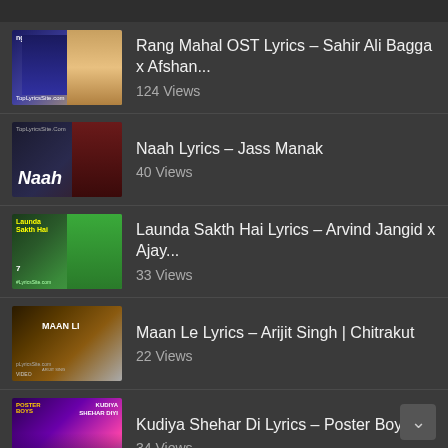Rang Mahal OST Lyrics – Sahir Ali Bagga x Afshan...
124 Views
Naah Lyrics – Jass Manak
40 Views
Launda Sakth Hai Lyrics – Arvind Jangid x Ajay...
33 Views
Maan Le Lyrics – Arijit Singh | Chitrakut
22 Views
Kudiya Shehar Di Lyrics – Poster Boys
34 Views